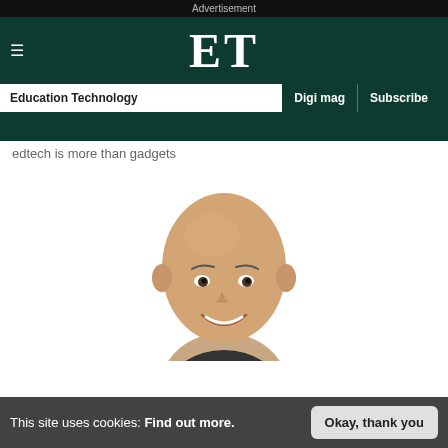Advertisement
ET
Education Technology | Digi mag | Subscribe
edtech is more than gadgets
[Figure (photo): Headshot of a bald middle-aged man smiling, wearing a dark top, on a white background]
This site uses cookies: Find out more. Okay, thank you